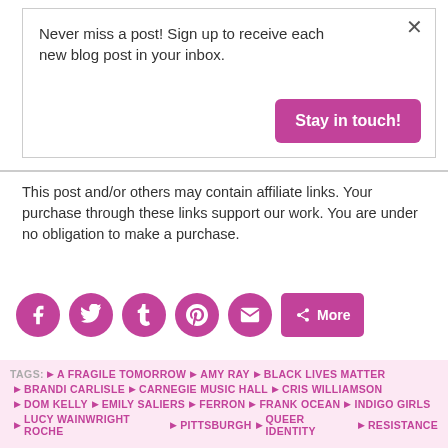Never miss a post! Sign up to receive each new blog post in your inbox.
Stay in touch!
This post and/or others may contain affiliate links. Your purchase through these links support our work. You are under no obligation to make a purchase.
[Figure (infographic): Social sharing buttons: Facebook, Twitter, Tumblr, Pinterest, Email circles, and a More button, all in magenta/pink color]
TAGS: A FRAGILE TOMORROW AMY RAY BLACK LIVES MATTER BRANDI CARLISLE CARNEGIE MUSIC HALL CRIS WILLIAMSON DOM KELLY EMILY SALIERS FERRON FRANK OCEAN INDIGO GIRLS LUCY WAINWRIGHT ROCHE PITTSBURGH QUEER IDENTITY RESISTANCE